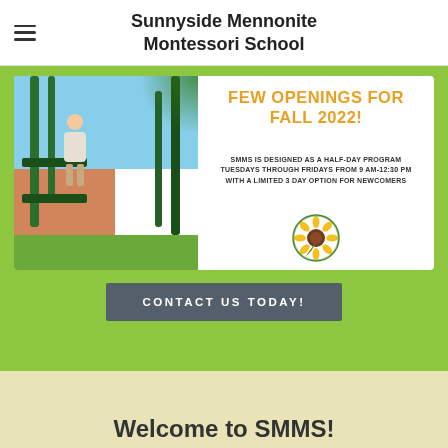Sunnyside Mennonite Montessori School
[Figure (photo): Child standing on playground equipment with green metal bars, brick building and trees in background]
FEW OPENINGS FOR FALL 2022!
SMMS IS DESIGNED AS A HALF-DAY PROGRAM TUESDAYS THROUGH FRIDAYS FROM 9 AM-12:30 PM WITH A LIMITED 3 DAY OPTION FOR NEWCOMERS
[Figure (logo): Sunnyside Mennonite Montessori School sunflower circular logo]
CONTACT US TODAY!
Welcome to SMMS!